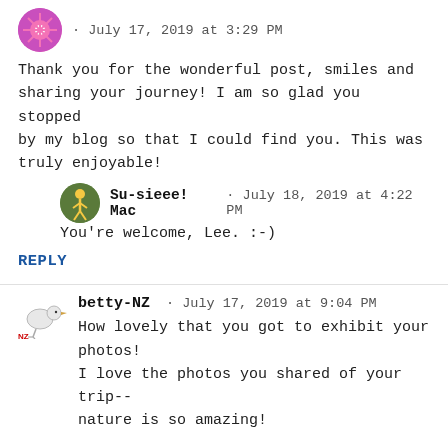· July 17, 2019 at 3:29 PM
Thank you for the wonderful post, smiles and sharing your journey! I am so glad you stopped by my blog so that I could find you. This was truly enjoyable!
Su-sieee! Mac · July 18, 2019 at 4:22 PM
You're welcome, Lee. :-)
REPLY
betty-NZ · July 17, 2019 at 9:04 PM
How lovely that you got to exhibit your photos! I love the photos you shared of your trip-- nature is so amazing!
My hubby and I have our own 'lyrics' of songs that we still sing wrong, even though we know they are!!